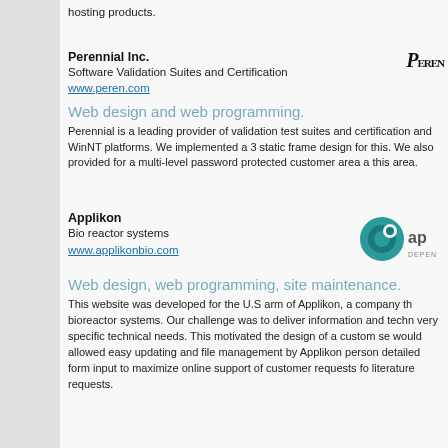hosting products.
Perennial Inc.
Software Validation Suites and Certification
www.peren.com
Web design and web programming.
Perennial is a leading provider of validation test suites and certification and WinNT platforms. We implemented a 3 static frame design for this. We also provided for a multi-level password protected customer area a this area.
Applikon
Bio reactor systems
www.applikonbio.com
Web design, web programming, site maintenance.
This website was developed for the U.S arm of Applikon, a company th bioreactor systems. Our challenge was to deliver information and techn very specific technical needs. This motivated the design of a custom se would allowed easy updating and file management by Applikon person detailed form input to maximize online support of customer requests fo literature requests.